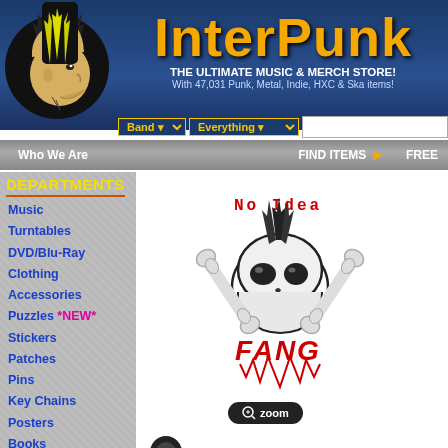[Figure (logo): Interpunk website header with punk character illustration and orange-yellow logo text on dark blue background]
THE ULTIMATE MUSIC & MERCH STORE!
With 47,031 Punk, Metal, Indie, HXC & Ska items!
Who We Are | FIND ITEMS | FREE
DEPARTMENTS
Music
Turntables
DVD/Blu-Ray
Clothing
Accessories
Puzzles *NEW*
Stickers
Patches
Pins
Key Chains
Posters
Books
[Figure (illustration): No Idea Records - Fang album artwork: skull with mohawk and crossbones, red stylized 'FANG' text below]
zoom
View other music on